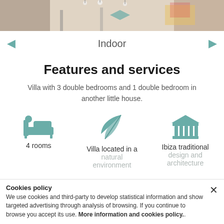[Figure (photo): Indoor room photo strip at the top of the page]
Indoor
Features and services
Villa with 3 double bedrooms and 1 double bedroom in another little house.
[Figure (infographic): Three icons: bed/4 rooms, leaf/Villa located in a natural environment, building/Ibiza traditional design and architecture]
Cookies policy
We use cookies and third-party to develop statistical information and show targeted advertising through analysis of browsing. If you continue to browse you accept its use. More information and cookies policy..